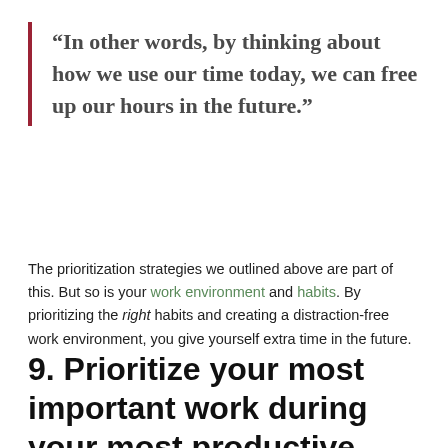“In other words, by thinking about how we use our time today, we can free up our hours in the future.”
The prioritization strategies we outlined above are part of this. But so is your work environment and habits. By prioritizing the right habits and creating a distraction-free work environment, you give yourself extra time in the future.
9. Prioritize your most important work during your most productive hours